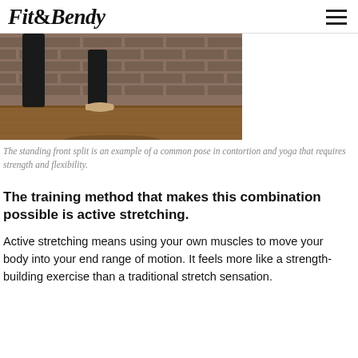Fit&Bendy
[Figure (photo): Legs of a person performing a standing front split pose in a studio with brick wall background and wooden floor.]
The standing front split is an example of a common pose in contortion and yoga that requires strength and flexibility.
The training method that makes this combination possible is active stretching.
Active stretching means using your own muscles to move your body into your end range of motion. It feels more like a strength-building exercise than a traditional stretch sensation.